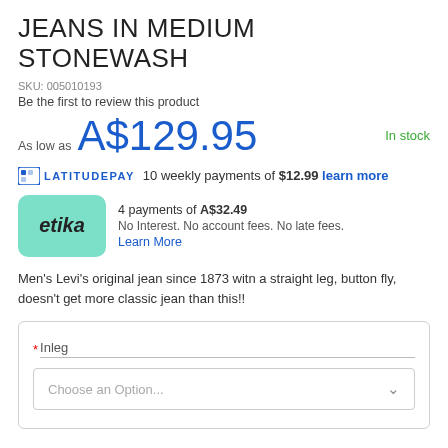JEANS IN MEDIUM STONEWASH
SKU: 005010193
Be the first to review this product
As low as A$129.95
In stock
LATITUDEPAY 10 weekly payments of $12.99 learn more
etika 4 payments of A$32.49 No Interest. No account fees. No late fees. Learn More
Men's Levi's original jean since 1873 witn a straight leg, button fly, doesn't get more classic jean than this!!
*Inleg Choose an Option...